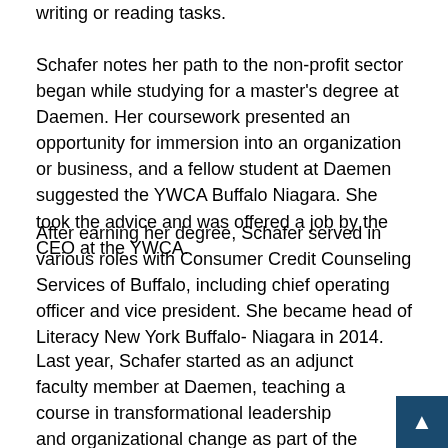writing or reading tasks.
Schafer notes her path to the non-profit sector began while studying for a master's degree at Daemen. Her coursework presented an opportunity for immersion into an organization or business, and a fellow student at Daemen suggested the YWCA Buffalo Niagara. She took the advice and was offered a job by the CEO at the YWCA.
After earning her degree, Schafer served in various roles with Consumer Credit Counseling Services of Buffalo, including chief operating officer and vice president. She became head of Literacy New York Buffalo- Niagara in 2014.
Last year, Schafer started as an adjunct faculty member at Daemen, teaching a course in transformational leadership and organizational change as part of the executive leadership and change program. She has served on several boards and advisory committees, including the YWCA of Western New York and the former Everywoman Opportunity Center. She is also treasurer of The Women's TAP (Taking Action in Politics) Fund.